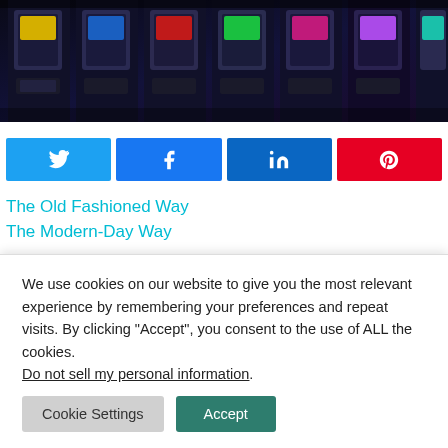[Figure (photo): Row of slot machines in a dark casino setting, colorful screens illuminated]
[Figure (infographic): Social share buttons: Twitter (light blue), Facebook (blue), LinkedIn (dark blue), Pinterest (red)]
The Old Fashioned Way
The Modern-Day Way
Let us preface this article by establishing that there is a...
We use cookies on our website to give you the most relevant experience by remembering your preferences and repeat visits. By clicking “Accept”, you consent to the use of ALL the cookies. Do not sell my personal information.
Cookie Settings  Accept